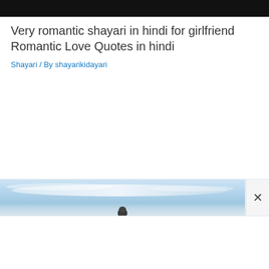[Figure (other): Black header bar at the top of the page]
Very romantic shayari in hindi for girlfriend Romantic Love Quotes in hindi
Shayari / By shayarikidayari
[Figure (photo): Advertisement overlay showing a sky/landscape photo with a close (x) button on the right side]